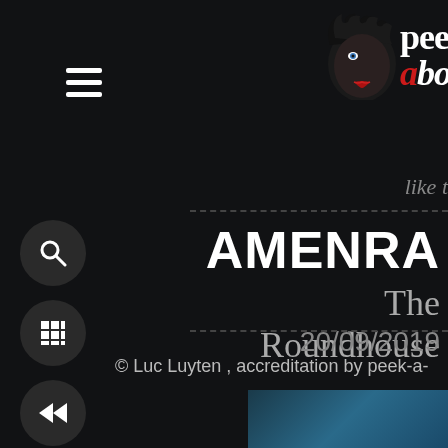[Figure (logo): Peek-a-boo logo with stylized face illustration and text]
like t
AMENRA
The Roundhouse
20/09/2019
© Luc Luyten , accreditation by peek-a-
[Figure (photo): Partial photo visible at bottom right of page]